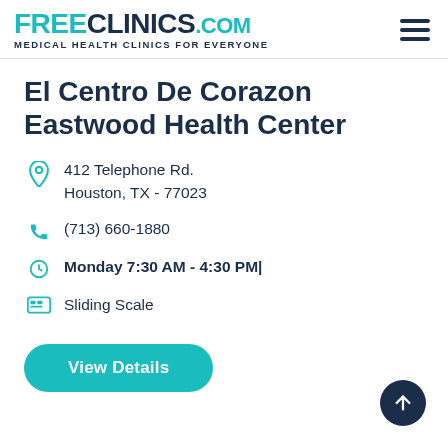FREE CLINICS.COM Medical Health Clinics For Everyone
El Centro De Corazon Eastwood Health Center
412 Telephone Rd.
Houston, TX - 77023
(713) 660-1880
Monday 7:30 AM - 4:30 PM|
Sliding Scale
View Details